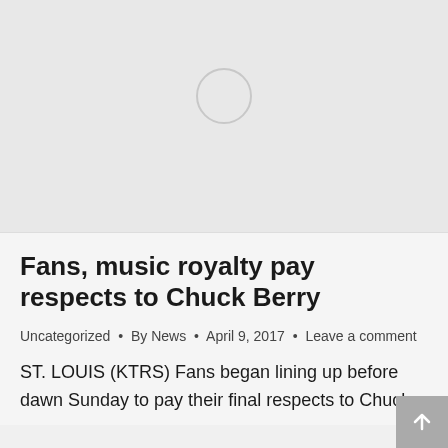[Figure (photo): Image loading placeholder with a spinner circle on a light gray background]
Fans, music royalty pay respects to Chuck Berry
Uncategorized • By News • April 9, 2017 • Leave a comment
ST. LOUIS (KTRS) Fans began lining up before dawn Sunday to pay their final respects to Chuck Berry, the rock-and-roll legend who passed away...